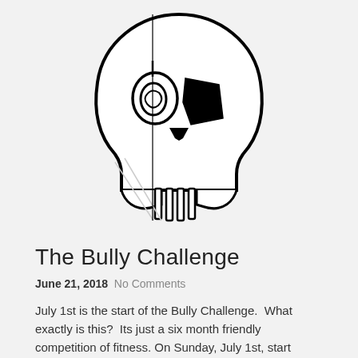[Figure (illustration): Punisher skull logo — a stylized black and white skull illustration with hollow eye sockets (left eye is an oval ring shape, right eye is a solid black angular shape), nasal cavity, and teeth rendered as vertical bars below the jaw. The overall shape is elongated with the cranium tapering to a point at the top.]
The Bully Challenge
June 21, 2018  No Comments
July 1st is the start of the Bully Challenge.  What exactly is this?  Its just a six month friendly competition of fitness. On Sunday, July 1st, start keeping tabs of the